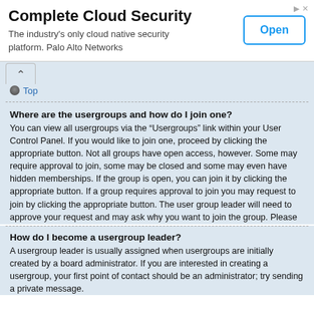[Figure (other): Advertisement banner for Complete Cloud Security by Palo Alto Networks with an Open button]
Top
Where are the usergroups and how do I join one?
You can view all usergroups via the “Usergroups” link within your User Control Panel. If you would like to join one, proceed by clicking the appropriate button. Not all groups have open access, however. Some may require approval to join, some may be closed and some may even have hidden memberships. If the group is open, you can join it by clicking the appropriate button. If a group requires approval to join you may request to join by clicking the appropriate button. The user group leader will need to approve your request and may ask why you want to join the group. Please do not harass a group leader if they reject your request; they will have their reasons.
Top
How do I become a usergroup leader?
A usergroup leader is usually assigned when usergroups are initially created by a board administrator. If you are interested in creating a usergroup, your first point of contact should be an administrator; try sending a private message.